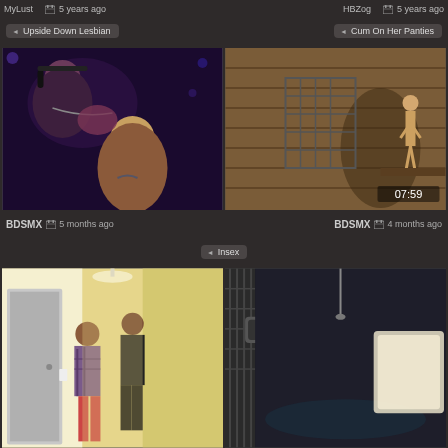MyLust   📅 5 years ago   HBZog   📅 5 years ago
◄ Upside Down Lesbian
◄ Cum On Her Panties
[Figure (photo): Two women kissing, dark lighting, one wearing headphones]
[Figure (photo): Person standing in barn/warehouse, BDSM scene, timestamp 07:59]
BDSMX   📅 5 months ago
BDSMX   📅 4 months ago
◄ Insex
[Figure (photo): Hallway scene with two people, indoor domestic setting]
[Figure (photo): Person restrained, BDSM scene, dark industrial setting]